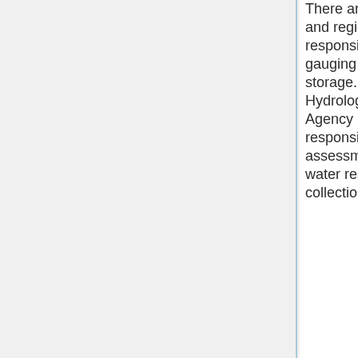There are both national and regional bodies responsible for river flow gauging and data storage. The Nigeria Hydrological Services Agency (NIHSA) is responsible for assessment of surface water resources through collection of